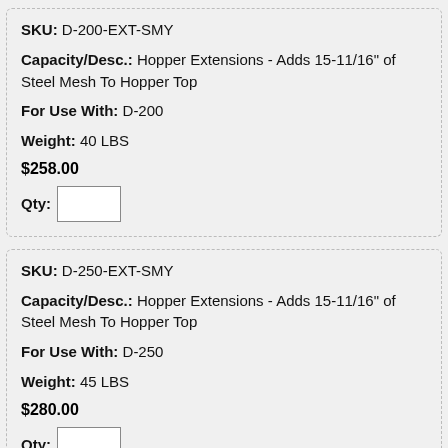SKU: D-200-EXT-SMY
Capacity/Desc.: Hopper Extensions - Adds 15-11/16" of Steel Mesh To Hopper Top
For Use With: D-200
Weight: 40 LBS
$258.00
Qty:
SKU: D-250-EXT-SMY
Capacity/Desc.: Hopper Extensions - Adds 15-11/16" of Steel Mesh To Hopper Top
For Use With: D-250
Weight: 45 LBS
$280.00
Qty:
Scroll Down for More Info ↓
SKU: D-300-EXT-SMY